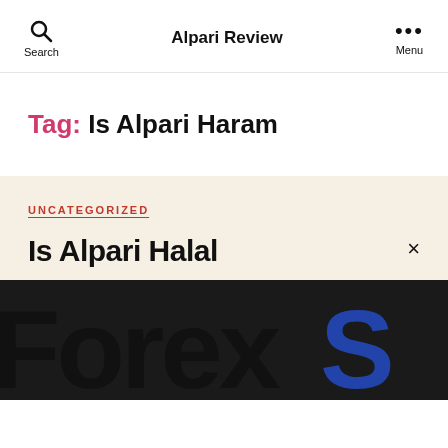Search  Alpari Review  Menu
Tag: Is Alpari Haram
UNCATEGORIZED
Is Alpari Halal
[Figure (logo): ForexS logo text in large bold font, black and blue, cropped]